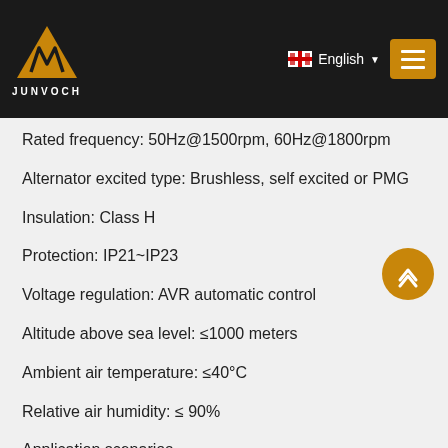JUNVOCH — English
Rated frequency: 50Hz@1500rpm, 60Hz@1800rpm
Alternator excited type: Brushless, self excited or PMG
Insulation: Class H
Protection: IP21~IP23
Voltage regulation: AVR automatic control
Altitude above sea level: ≤1000 meters
Ambient air temperature: ≤40°C
Relative air humidity: ≤ 90%
Application scenarios